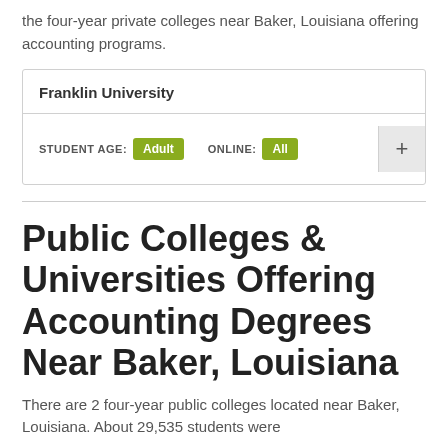the four-year private colleges near Baker, Louisiana offering accounting programs.
| Franklin University |
| --- |
| STUDENT AGE: Adult   ONLINE: All |
Public Colleges & Universities Offering Accounting Degrees Near Baker, Louisiana
There are 2 four-year public colleges located near Baker, Louisiana. About 29,535 students were